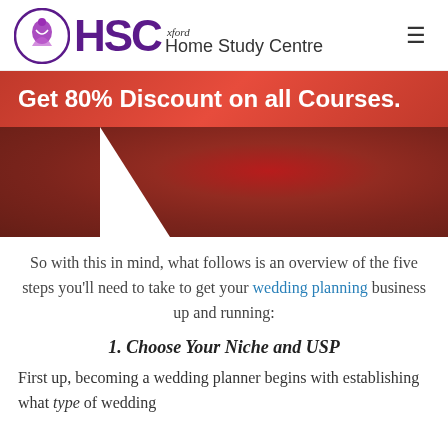[Figure (logo): HSC Oxford Home Study Centre logo with purple circular emblem and HSC lettering]
Get 80% Discount on all Courses.
[Figure (photo): Close-up photo of red roses or red floral texture with a white fold/corner in the lower left]
So with this in mind, what follows is an overview of the five steps you'll need to take to get your wedding planning business up and running:
1. Choose Your Niche and USP
First up, becoming a wedding planner begins with establishing what type of wedding